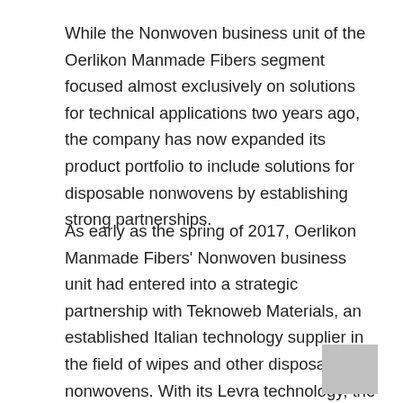While the Nonwoven business unit of the Oerlikon Manmade Fibers segment focused almost exclusively on solutions for technical applications two years ago, the company has now expanded its product portfolio to include solutions for disposable nonwovens by establishing strong partnerships.
As early as the spring of 2017, Oerlikon Manmade Fibers' Nonwoven business unit had entered into a strategic partnership with Teknoweb Materials, an established Italian technology supplier in the field of wipes and other disposable nonwovens. With its Levra technology, the company has its own patented, particularly efficient manufacturing process for wipes. It also has extensive process know-